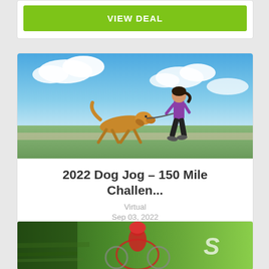[Figure (other): Green VIEW DEAL button at top of page, partial card visible]
[Figure (photo): Woman running outdoors with a large golden dog on a sunny day with blue sky and clouds]
2022 Dog Jog – 150 Mile Challen...
Virtual
Sep 03, 2022
14 days left.
$10 OFF
[Figure (other): Green VIEW DEAL button]
[Figure (photo): Partial image of a cyclist wearing a helmet, motion blurred, bottom of page]